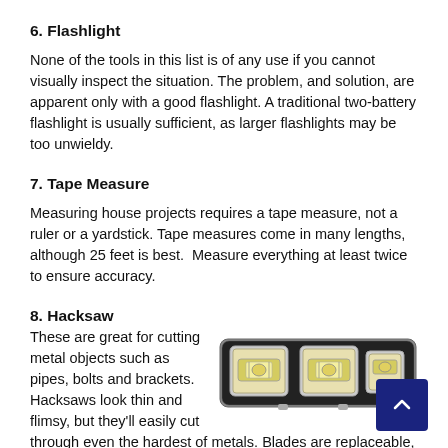6.  Flashlight
None of the tools in this list is of any use if you cannot visually inspect the situation. The problem, and solution, are apparent only with a good flashlight. A traditional two-battery flashlight is usually sufficient, as larger flashlights may be too unwieldy.
7.  Tape Measure
Measuring house projects requires a tape measure, not a ruler or a yardstick. Tape measures come in many lengths, although 25 feet is best.  Measure everything at least twice to ensure accuracy.
8.  Hacksaw
These are great for cutting metal objects such as pipes, bolts and brackets. Hacksaws look thin and flimsy, but they'll easily cut through even the hardest of metals. Blades are replaceable, so focus your purchase on a quality hacksaw frame.
[Figure (photo): A spirit level tool with three bubble vials in a gray metal body, with a dark navy navigation button overlay in the bottom-right corner]